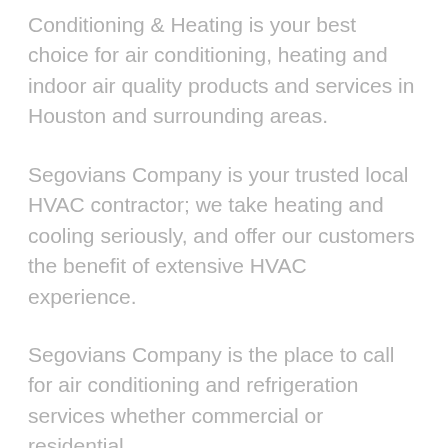Conditioning & Heating is your best choice for air conditioning, heating and indoor air quality products and services in Houston and surrounding areas.
Segovians Company is your trusted local HVAC contractor; we take heating and cooling seriously, and offer our customers the benefit of extensive HVAC experience.
Segovians Company is the place to call for air conditioning and refrigeration services whether commercial or residential.
Segovians Company HVACR Services is your trusted local HVAC contractor, we take heating and cooling seriously,